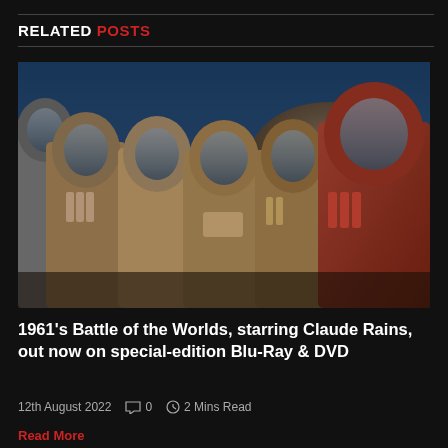RELATED POSTS
[Figure (photo): Five astronauts in metallic space suits and helmets standing together, from the 1961 science fiction film Battle of the Worlds]
1961’s Battle of the Worlds, starring Claude Rains, out now on special-edition Blu-Ray & DVD
12th August 2022   💬 0   ⏱ 2 Mins Read
Read More